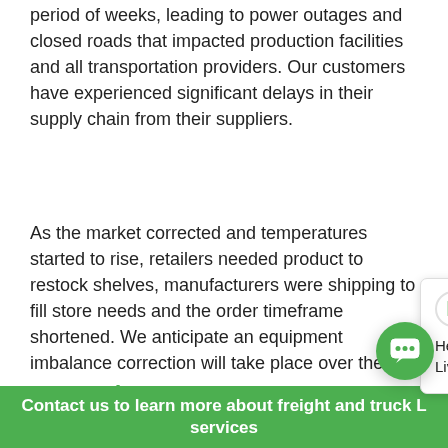period of weeks, leading to power outages and closed roads that impacted production facilities and all transportation providers. Our customers have experienced significant delays in their supply chain from their suppliers.
As the market corrected and temperatures started to rise, retailers needed product to restock shelves, manufacturers were shipping to fill store needs and the order timeframe shortened. We anticipate an equipment imbalance correction will take place over the next few weeks and may roll into the Quarter-End significant winter storm d imbalance could last thro Produce Season starts.
[Figure (screenshot): Live chat popup from LiVe Logistics showing a green L logo, close button (×), and the message 'Hello! Welcome to LiVe Logistics Live Chat.' alongside a green circular chat bubble button.]
Contact us to learn more about freight and truck L services